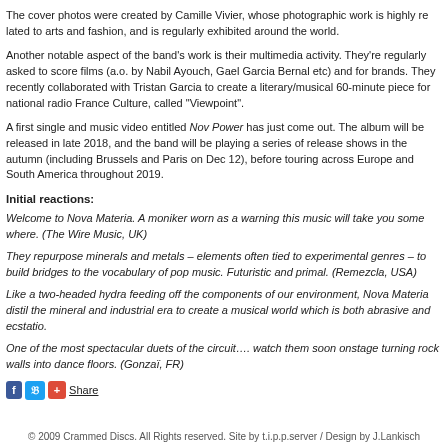The cover photos were created by Camille Vivier, whose photographic work is highly related to arts and fashion, and is regularly exhibited around the world.
Another notable aspect of the band's work is their multimedia activity. They're regularly asked to score films (a.o. by Nabil Ayouch, Gael Garcia Bernal etc) and for brands. They recently collaborated with Tristan Garcia to create a literary/musical 60-minute piece for national radio France Culture, called "Viewpoint".
A first single and music video entitled Nov Power has just come out. The album will be released in late 2018, and the band will be playing a series of release shows in the autumn (including Brussels and Paris on Dec 12), before touring across Europe and South America throughout 2019.
Initial reactions:
Welcome to Nova Materia. A moniker worn as a warning this music will take you somewhere. (The Wire Music, UK)
They repurpose minerals and metals – elements often tied to experimental genres – to build bridges to the vocabulary of pop music. Futuristic and primal. (Remezcla, USA)
Like a two-headed hydra feeding off the components of our environment, Nova Materia distil the mineral and industrial era to create a musical world which is both abrasive and ecstatic.
One of the most spectacular duets of the circuit…. watch them soon onstage turning rock walls into dance floors. (Gonzaï, FR)
[Figure (other): Social share buttons: Facebook, Twitter, Google+, and Share text link]
© 2009 Crammed Discs. All Rights reserved. Site by t.i.p.p.server / Design by J.Lankisch